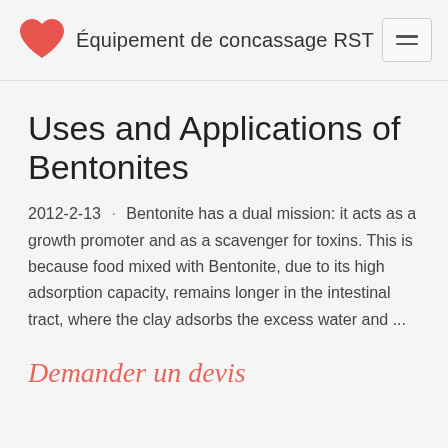Équipement de concassage RST
Uses and Applications of Bentonites
2012-2-13 · Bentonite has a dual mission: it acts as a growth promoter and as a scavenger for toxins. This is because food mixed with Bentonite, due to its high adsorption capacity, remains longer in the intestinal tract, where the clay adsorbs the excess water and ...
Demander un devis